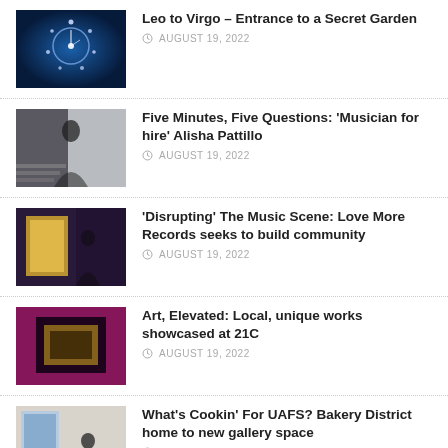Leo to Virgo – Entrance to a Secret Garden
AUGUST 19, 2022
Five Minutes, Five Questions: 'Musician for hire' Alisha Pattillo
AUGUST 19, 2022
'Disrupting' The Music Scene: Love More Records seeks to build community
AUGUST 19, 2022
Art, Elevated: Local, unique works showcased at 21C
AUGUST 19, 2022
What's Cookin' For UAFS? Bakery District home to new gallery space
AUGUST 19, 2022
8 Days A Week
AUGUST 19, 2022